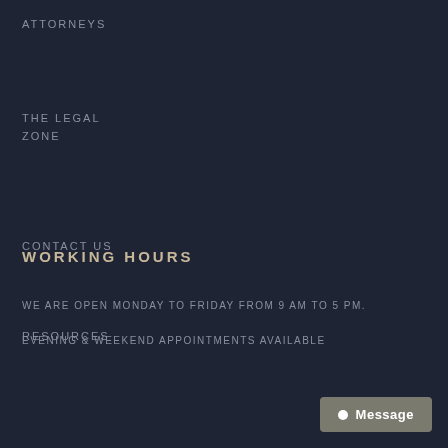ATTORNEYS
THE LEGAL ZONE
CONTACT US
RESOURCES
WORKING HOURS
WE ARE OPEN MONDAY TO FRIDAY FROM 9 AM TO 5 PM.
EVENING & WEEKEND APPOINTMENTS AVAILABLE
Message